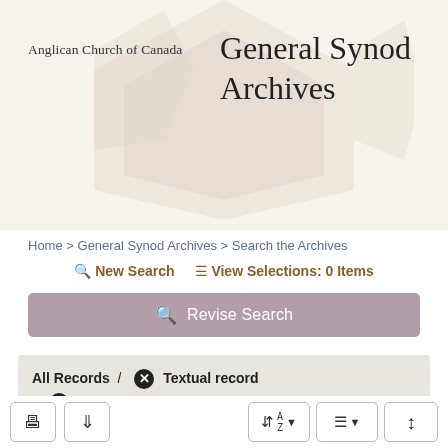[Figure (screenshot): Decorative hexagon background pattern in muted beige/rose tones on the header area]
Anglican Church of Canada
General Synod Archives
Home > General Synod Archives > Search the Archives
New Search   View Selections: 0 Items
Revise Search
All Records / ✕ Textual record / ✕ General Synod. Minutes / ✕ Anglican Church of Canada - Clergy - Education (Continuing education)